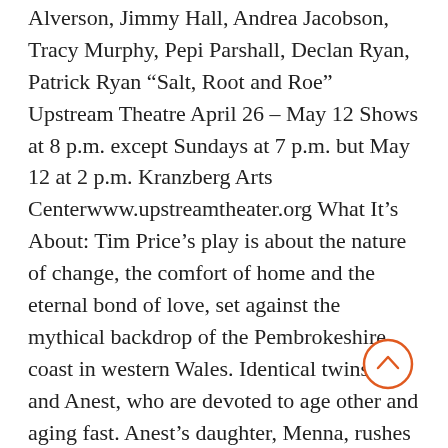Alverson, Jimmy Hall, Andrea Jacobson, Tracy Murphy, Pepi Parshall, Declan Ryan, Patrick Ryan “Salt, Root and Roe” Upstream Theatre April 26 – May 12 Shows at 8 p.m. except Sundays at 7 p.m. but May 12 at 2 p.m. Kranzberg Arts Centerwww.upstreamtheater.org What It’s About: Tim Price’s play is about the nature of change, the comfort of home and the eternal bond of love, set against the mythical backdrop of the Pembrokeshire coast in western Wales. Identical twins Iola and Anest, who are devoted to age other and aging fast. Anest’s daughter, Menna, rushes to her long-abandoned childhood home where her own ideas of love and compromise are tested to the limit. Director: Kenn McLoughlin Cast: Donna